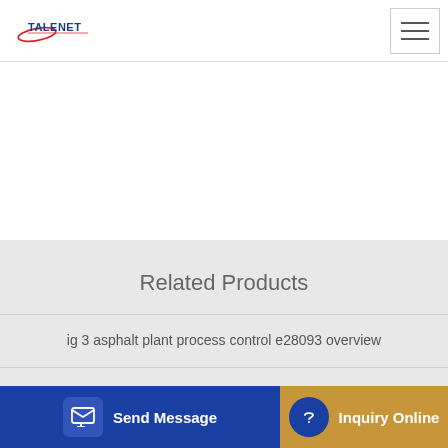[Figure (logo): Talenet company logo with red swoosh and blue text reading TALENET]
Related Products
ig 3 asphalt plant process control e28093 overview
advanced concrete mixer plant from china RMC Plant
... r truc... (partially visible text)
Send Message
Inquiry Online